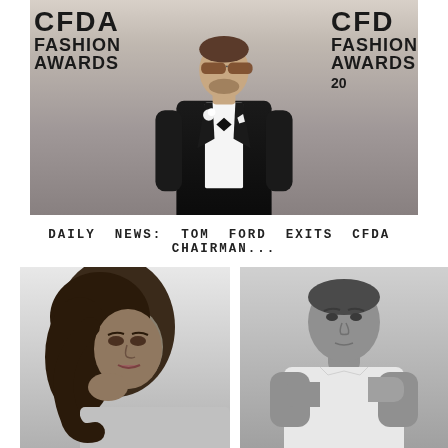[Figure (photo): Man in black tuxedo with bow tie and sunglasses standing at CFDA Fashion Awards backdrop]
DAILY NEWS: TOM FORD EXITS CFDA CHAIRMAN...
[Figure (photo): Black and white portrait photo of a woman with curly hair]
[Figure (photo): Black and white photo of a man in white sleeveless shirt with arms crossed]